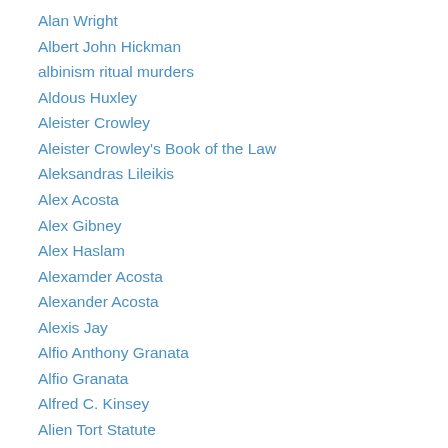Alan Wright
Albert John Hickman
albinism ritual murders
Aldous Huxley
Aleister Crowley
Aleister Crowley's Book of the Law
Aleksandras Lileikis
Alex Acosta
Alex Gibney
Alex Haslam
Alexamder Acosta
Alexander Acosta
Alexis Jay
Alfio Anthony Granata
Alfio Granata
Alfred C. Kinsey
Alien Tort Statute
Alison Miller
Alistah Laishkochav
all-male secret society